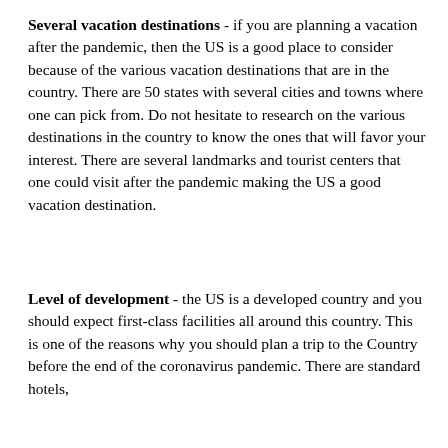Several vacation destinations - if you are planning a vacation after the pandemic, then the US is a good place to consider because of the various vacation destinations that are in the country. There are 50 states with several cities and towns where one can pick from. Do not hesitate to research on the various destinations in the country to know the ones that will favor your interest. There are several landmarks and tourist centers that one could visit after the pandemic making the US a good vacation destination.
Level of development - the US is a developed country and you should expect first-class facilities all around this country. This is one of the reasons why you should plan a trip to the Country before the end of the coronavirus pandemic. There are standard hotels,